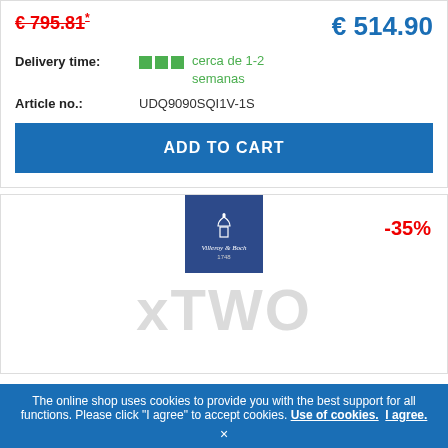€ 795.81* (strikethrough/old price) | € 514.90 (new price)
Delivery time: cerca de 1-2 semanas
Article no.: UDQ9090SQI1V-1S
ADD TO CART
[Figure (logo): Villeroy & Boch logo on dark blue square background]
-35%
xTWO watermark
The online shop uses cookies to provide you with the best support for all functions. Please click "I agree" to accept cookies. Use of cookies. I agree.